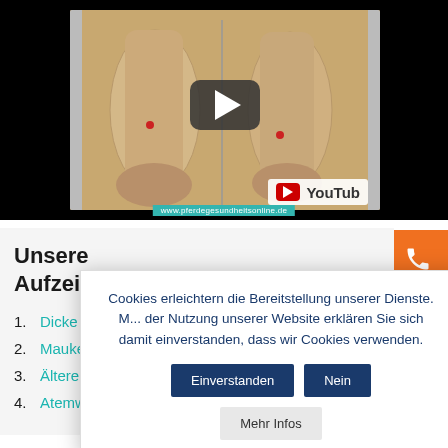[Figure (screenshot): YouTube video thumbnail showing horse anatomy/leg specimens with play button overlay, YouTube badge bottom right, teal watermark with website URL at bottom]
Cookies erleichtern die Bereitstellung unserer Dienste. M... der Nutzung unserer Website erklären Sie sich damit einverstanden, dass wir Cookies verwenden.
Unsere Aufzei...
1. Dicke B...
2. Mauke ...
3. Ältere P...
4. Atemwege des Pferdes